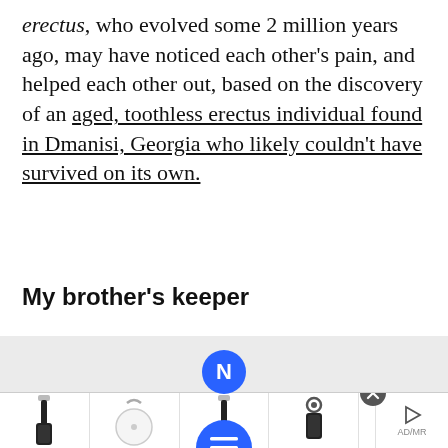erectus, who evolved some 2 million years ago, may have noticed each other's pain, and helped each other out, based on the discovery of an aged, toothless erectus individual found in Dmanisi, Georgia who likely couldn't have survived on its own.
My brother's keeper
[Figure (screenshot): App/website ad banner with blue notification icon showing N, title 'Ancient discoveries', a blue hamburger menu button overlay, and a product advertisement strip showing various bag accessories at the bottom with a close button.]